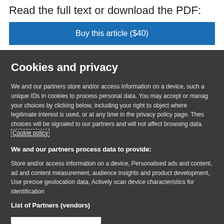Read the full text or download the PDF:
Buy this article ($40)
Cookies and privacy
We and our partners store and/or access information on a device, such a unique IDs in cookies to process personal data. You may accept or manage your choices by clicking below, including your right to object where legitimate interest is used, or at any time in the privacy policy page. These choices will be signaled to our partners and will not affect browsing data. Cookie policy
We and our partners process data to provide:
Store and/or access information on a device, Personalised ads and content, ad and content measurement, audience insights and product development, Use precise geolocation data, Actively scan device characteristics for identification
List of Partners (vendors)
I Accept